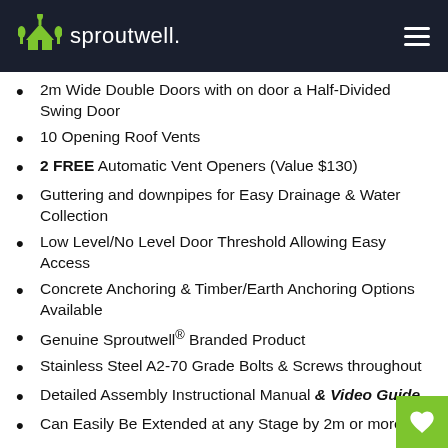sproutwell.
2m Wide Double Doors with on door a Half-Divided Swing Door
10 Opening Roof Vents
2 FREE Automatic Vent Openers (Value $130)
Guttering and downpipes for Easy Drainage & Water Collection
Low Level/No Level Door Threshold Allowing Easy Access
Concrete Anchoring & Timber/Earth Anchoring Options Available
Genuine Sproutwell® Branded Product
Stainless Steel A2-70 Grade Bolts & Screws throughout
Detailed Assembly Instructional Manual & Video Guide
Can Easily Be Extended at any Stage by 2m or more